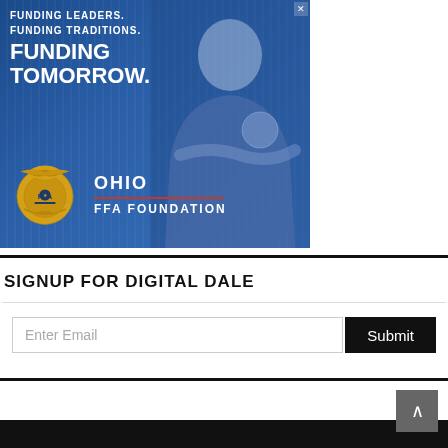[Figure (illustration): Ohio FFA Foundation advertisement banner with blue background, vertical line pattern, text reading FUNDING LEADERS. FUNDING TRADITIONS. FUNDING TOMORROW., FFA emblem logo on left, OHIO / FFA FOUNDATION text, and a smiling young woman wearing an FFA jacket with crossed arms on the right side.]
SIGNUP FOR DIGITAL DALE
Enter Email  [Submit button]